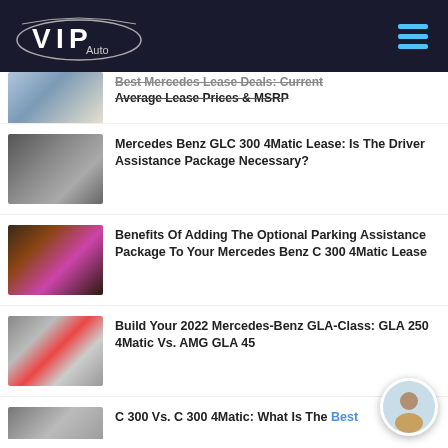VIP Auto
Best Mercedes Lease Deals: Current Average Lease Prices & MSRP
Mercedes Benz GLC 300 4Matic Lease: Is The Driver Assistance Package Necessary?
Benefits Of Adding The Optional Parking Assistance Package To Your Mercedes Benz C 300 4Matic Lease
Build Your 2022 Mercedes-Benz GLA-Class: GLA 250 4Matic Vs. AMG GLA 45
C 300 Vs. C 300 4Matic: What Is The Best…